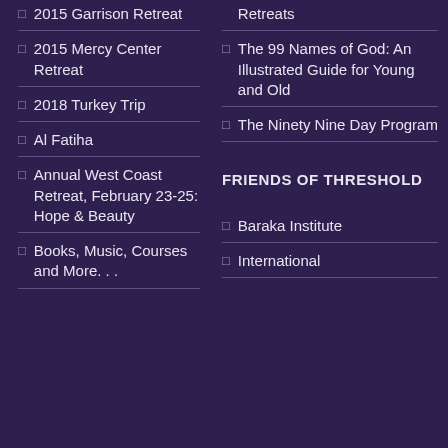2015 Garrison Retreat
2015 Mercy Center Retreat
2018 Turkey Trip
Al Fatiha
Annual West Coast Retreat, February 23-25: Hope & Beauty
Books, Music, Courses and More. . .
Online Retreats
The 99 Names of God: An Illustrated Guide for Young and Old
The Ninety Nine Day Program
FRIENDS OF THRESHOLD
Baraka Institute
International